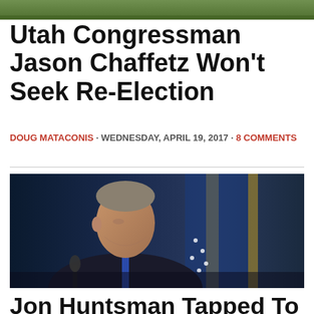[Figure (photo): Top partial strip photo of outdoor scene with green foliage]
Utah Congressman Jason Chaffetz Won't Seek Re-Election
DOUG MATACONIS · WEDNESDAY, APRIL 19, 2017 · 8 COMMENTS
[Figure (photo): Photo of a man in a dark suit with a blue tie, looking upward, with American flags in the background]
Jon Huntsman Tapped To